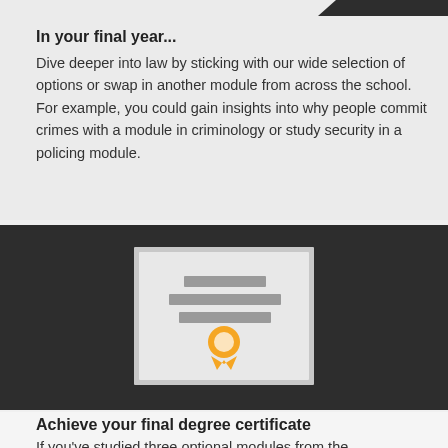In your final year...
Dive deeper into law by sticking with our wide selection of options or swap in another module from across the school. For example, you could gain insights into why people commit crimes with a module in criminology or study security in a policing module.
[Figure (illustration): A certificate icon with three horizontal lines representing text and an orange award ribbon/medal at the bottom, on a dark background.]
Achieve your final degree certificate
If you've studied three optional modules from the